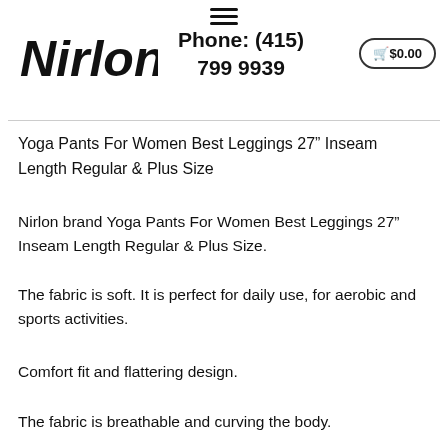≡
[Figure (logo): Nirlon brand logo in italic bold font]
Phone: (415) 799 9939
🛒$0.00
Yoga Pants For Women Best Leggings 27" Inseam Length Regular & Plus Size
Nirlon brand Yoga Pants For Women Best Leggings 27" Inseam Length Regular & Plus Size.
The fabric is soft. It is perfect for daily use, for aerobic and sports activities.
Comfort fit and flattering design.
The fabric is breathable and curving the body.